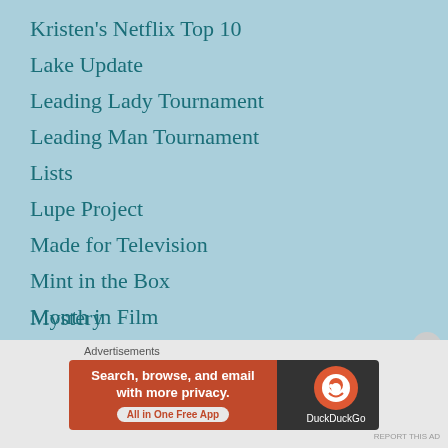Kristen's Netflix Top 10
Lake Update
Leading Lady Tournament
Leading Man Tournament
Lists
Lupe Project
Made for Television
Mint in the Box
Month in Film
Musical
My Month With Marilyn
My Movie Wishlist
Mystery
[Figure (screenshot): DuckDuckGo advertisement banner: orange left panel with 'Search, browse, and email with more privacy. All in One Free App' and dark right panel with DuckDuckGo logo]
Advertisements
REPORT THIS AD